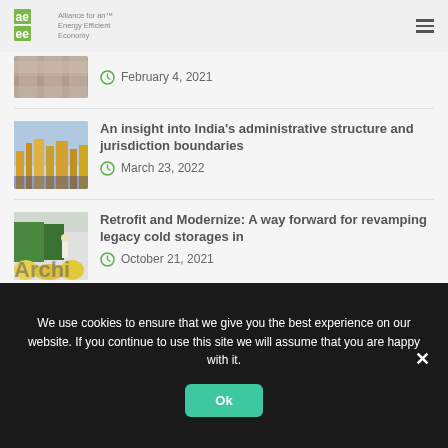Alliance for an Energy Efficient Economy
[Figure (photo): Partial thumbnail of an article, cropped at top, showing construction/building materials]
February 4, 2021
An insight into India’s administrative structure and jurisdiction boundaries
March 23, 2022
[Figure (photo): City skyline with tall buildings]
Retrofit and Modernize: A way forward for revamping legacy cold storages in
October 21, 2021
[Figure (photo): Cold storage/warehouse with workers and produce]
Archives
We use cookies to ensure that we give you the best experience on our website. If you continue to use this site we will assume that you are happy with it.